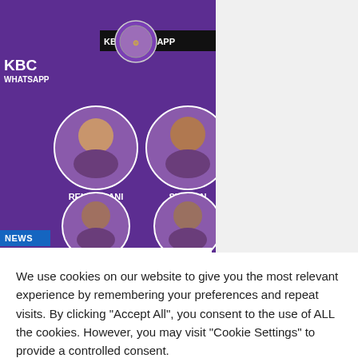[Figure (screenshot): KBC WhatsApp lottery winners promotional image with purple background showing faces of Rekha Rani, Subhan, Sachin, Uday Gin in circular frames, with KBC WhatsApp text and NEWS badge]
Tips on how to To find KBC Lottery Winner
We use cookies on our website to give you the most relevant experience by remembering your preferences and repeat visits. By clicking "Accept All", you consent to the use of ALL the cookies. However, you may visit "Cookie Settings" to provide a controlled consent.
Cookie Settings
Accept All